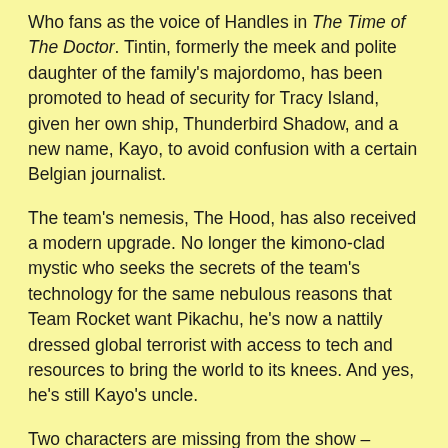Who fans as the voice of Handles in The Time of The Doctor. Tintin, formerly the meek and polite daughter of the family's majordomo, has been promoted to head of security for Tracy Island, given her own ship, Thunderbird Shadow, and a new name, Kayo, to avoid confusion with a certain Belgian journalist.
The team's nemesis, The Hood, has also received a modern upgrade. No longer the kimono-clad mystic who seeks the secrets of the team's technology for the same nebulous reasons that Team Rocket want Pikachu, he's now a nattily dressed global terrorist with access to tech and resources to bring the world to its knees. And yes, he's still Kayo's uncle.
Two characters are missing from the show – Kyrano, Kayo's father (who was barely more than a elderly houseboy), and patriarch of the Tracy clan, Jeff. It's revealed early in the premiere that Jeff was lost in a mysterious crash, an accident manufactured by The Hood.  While he will not appear in the first series (a second has already been commissioned),